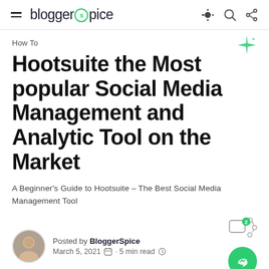bloggerspice
How To
Hootsuite the Most popular Social Media Management and Analytic Tool on the Market
A Beginner's Guide to Hootsuite – The Best Social Media Management Tool
Posted by BloggerSpice
March 5, 2021 · 5 min read